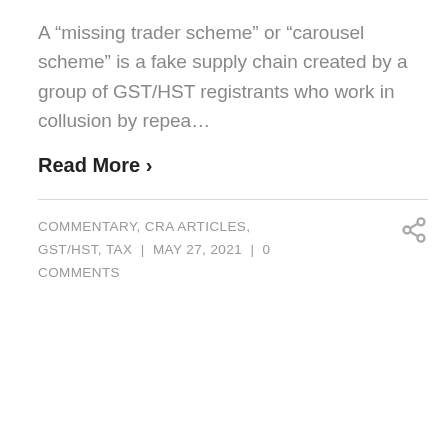A “missing trader scheme” or “carousel scheme” is a fake supply chain created by a group of GST/HST registrants who work in collusion by repea...
Read More ›
COMMENTARY, CRA ARTICLES, GST/HST, TAX | MAY 27, 2021 | 0 COMMENTS